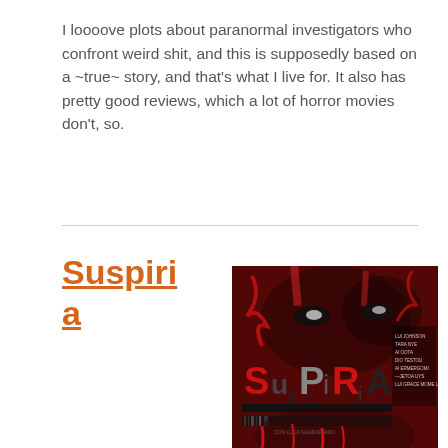I loooove plots about paranormal investigators who confront weird shit, and this is supposedly based on a ~true~ story, and that's what I live for. It also has pretty good reviews, which a lot of horror movies don't, so.
Suspiria
[Figure (photo): Movie poster for Suspiria featuring dramatic red and dark imagery with stylized text reading 'SusPiRia' in mixed fonts and colors, with cast list on the right side]